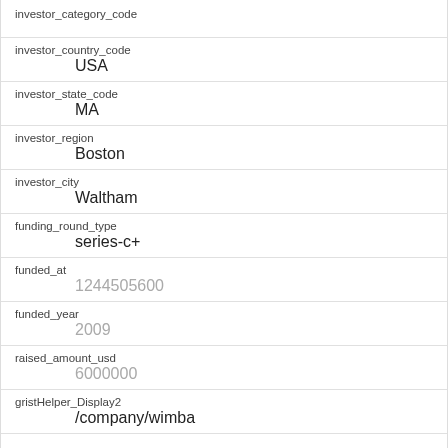| field | value |
| --- | --- |
| investor_category_code |  |
| investor_country_code | USA |
| investor_state_code | MA |
| investor_region | Boston |
| investor_city | Waltham |
| funding_round_type | series-c+ |
| funded_at | 1244505600 |
| funded_year | 2009 |
| raised_amount_usd | 6000000 |
| gristHelper_Display2 | /company/wimba |